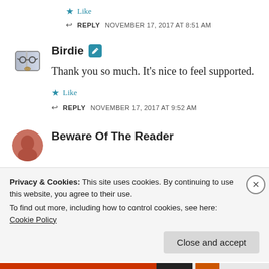★ Like
↩ REPLY   NOVEMBER 17, 2017 AT 8:51 AM
Birdie
Thank you so much. It's nice to feel supported.
★ Like
↩ REPLY   NOVEMBER 17, 2017 AT 9:52 AM
Beware Of The Reader
Privacy & Cookies: This site uses cookies. By continuing to use this website, you agree to their use. To find out more, including how to control cookies, see here: Cookie Policy
Close and accept